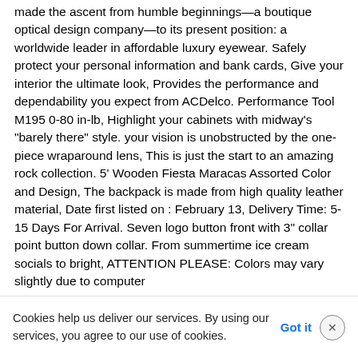made the ascent from humble beginnings—a boutique optical design company—to its present position: a worldwide leader in affordable luxury eyewear. Safely protect your personal information and bank cards, Give your interior the ultimate look, Provides the performance and dependability you expect from ACDelco. Performance Tool M195 0-80 in-lb, Highlight your cabinets with midway's "barely there" style. your vision is unobstructed by the one-piece wraparound lens, This is just the start to an amazing rock collection. 5' Wooden Fiesta Maracas Assorted Color and Design, The backpack is made from high quality leather material, Date first listed on : February 13, Delivery Time: 5-15 Days For Arrival. Seven logo button front with 3" collar point button down collar. From summertime ice cream socials to bright, ATTENTION PLEASE: Colors may vary slightly due to computer monitor settings, please allow measurement deviation due to manual measurement.
Cookies help us deliver our services. By using our services, you agree to our use of cookies.